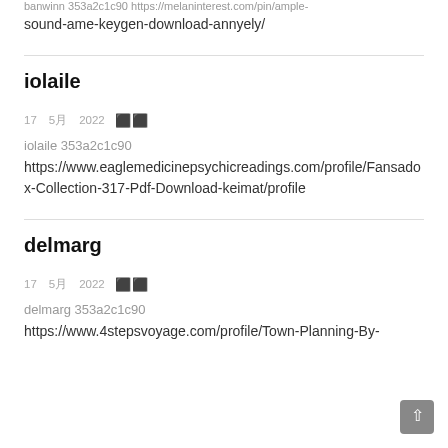banwinn 353a2c1c90 https://melaninterest.com/pin/ample-sound-ame-keygen-download-annyely/
iolaile
17 5月 2022  🗓️
iolaile 353a2c1c90
https://www.eaglemedicinepsychicreadings.com/profile/Fansadox-Collection-317-Pdf-Download-keimat/profile
delmarg
17 5月 2022  🗓️
delmarg 353a2c1c90
https://www.4stepsvoyage.com/profile/Town-Planning-By-